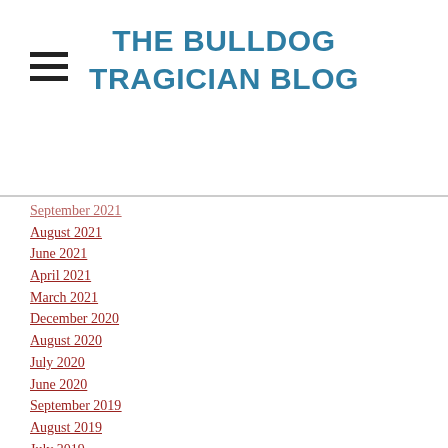THE BULLDOG TRAGICIAN BLOG
September 2021
August 2021
June 2021
April 2021
March 2021
December 2020
August 2020
July 2020
June 2020
September 2019
August 2019
July 2019
June 2019
May 2019
April 2019
March 2019
November 2018
August 2018
July 2018